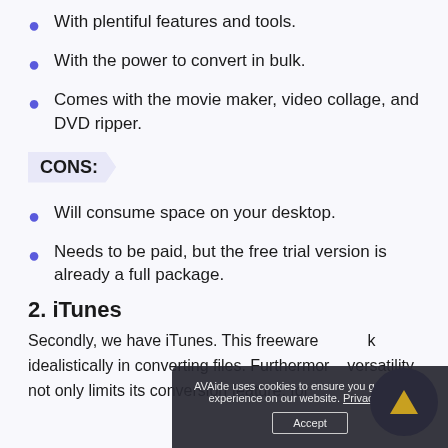With plentiful features and tools.
With the power to convert in bulk.
Comes with the movie maker, video collage, and DVD ripper.
CONS:
Will consume space on your desktop.
Needs to be paid, but the free trial version is already a full package.
2. iTunes
Secondly, we have iTunes. This freeware idealistically in converting files. Furthermore versatility not only limits its conversion feature, for